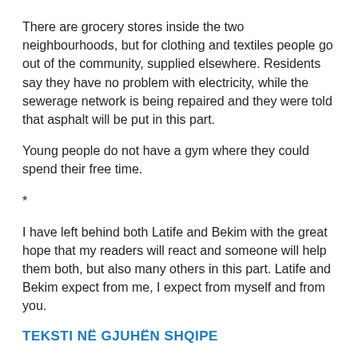There are grocery stores inside the two neighbourhoods, but for clothing and textiles people go out of the community, supplied elsewhere. Residents say they have no problem with electricity, while the sewerage network is being repaired and they were told that asphalt will be put in this part.
Young people do not have a gym where they could spend their free time.
*
I have left behind both Latife and Bekim with the great hope that my readers will react and someone will help them both, but also many others in this part. Latife and Bekim expect from me, I expect from myself and from you.
TEKSTI NË GJUHËN SHQIPE